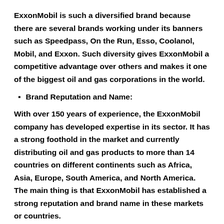ExxonMobil is such a diversified brand because there are several brands working under its banners such as Speedpass, On the Run, Esso, Coolanol, Mobil, and Exxon. Such diversity gives ExxonMobil a competitive advantage over others and makes it one of the biggest oil and gas corporations in the world.
Brand Reputation and Name:
With over 150 years of experience, the ExxonMobil company has developed expertise in its sector. It has a strong foothold in the market and currently distributing oil and gas products to more than 14 countries on different continents such as Africa, Asia, Europe, South America, and North America. The main thing is that ExxonMobil has established a strong reputation and brand name in these markets or countries.